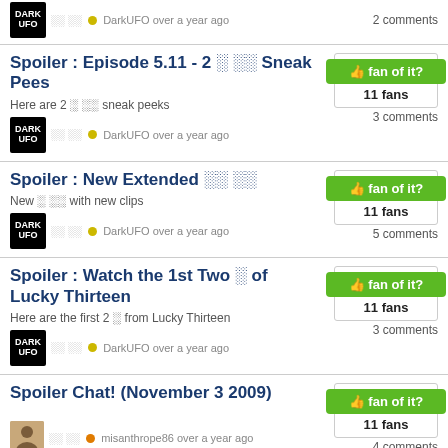DarkUFO over a year ago — 2 comments
Spoiler : Episode 5.11 - 2 Sneak Pees
Here are 2 sneak peeks
DarkUFO over a year ago
11 fans — 3 comments
Spoiler : New Extended
New with new clips
DarkUFO over a year ago
11 fans — 5 comments
Spoiler : Watch the 1st Two of Lucky Thirteen
Here are the first 2 from Lucky Thirteen
DarkUFO over a year ago
11 fans — 3 comments
Spoiler Chat! (November 3 2009)
misanthrope86 over a year ago
11 fans — 4 comments
SPOILER! Ask Ausiello: Another hint from Joy To The World
fan of it?